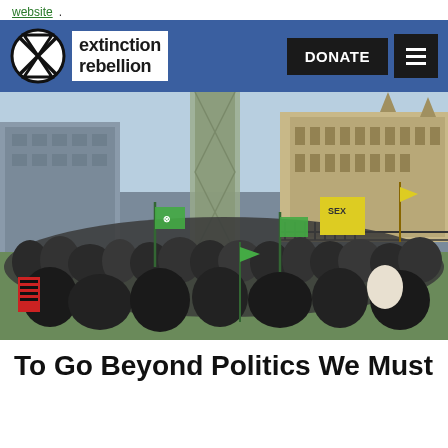website.
[Figure (logo): Extinction Rebellion logo with circular hourglass symbol and 'extinction rebellion' text, navigation bar with DONATE button and hamburger menu]
[Figure (photo): Large crowd of Extinction Rebellion protesters gathered in front of the Houses of Parliament in London, with green XR flags, yellow signs, and banners visible. Blue sky and scaffolding in background.]
To Go Beyond Politics We Must